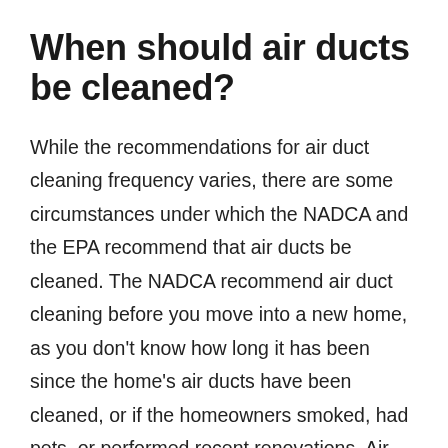When should air ducts be cleaned?
While the recommendations for air duct cleaning frequency varies, there are some circumstances under which the NADCA and the EPA recommend that air ducts be cleaned. The NADCA recommend air duct cleaning before you move into a new home, as you don't know how long it has been since the home's air ducts have been cleaned, or if the homeowners smoked, had pets, or performed recent renovations. Air ducts also should be cleaned if there has been water damage to the HVAC system, mold detected within the home,